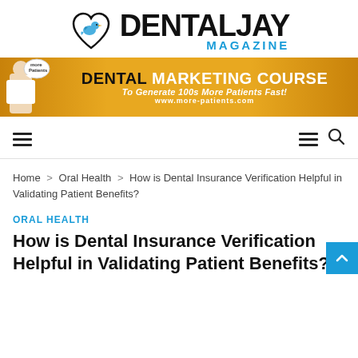[Figure (logo): Dental Jay Magazine logo with bird-in-heart icon and text DENTAL JAY MAGAZINE]
[Figure (infographic): Dental Marketing Course advertisement banner: orange/gold background with woman, speech bubble saying 'more Patients', text: DENTAL MARKETING COURSE, To Generate 100s More Patients Fast!, www.more-patients.com]
Navigation bar with hamburger menu icons and search icon
Home > Oral Health > How is Dental Insurance Verification Helpful in Validating Patient Benefits?
ORAL HEALTH
How is Dental Insurance Verification Helpful in Validating Patient Benefits?